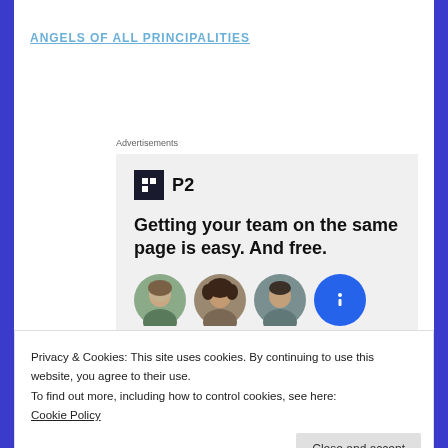ANGELS OF ALL PRINCIPALITIES
Advertisements
[Figure (infographic): P2 advertisement: logo with black square icon and 'P2' text, headline 'Getting your team on the same page is easy. And free.' with circular avatar photos below.]
Privacy & Cookies: This site uses cookies. By continuing to use this website, you agree to their use.
To find out more, including how to control cookies, see here:
Cookie Policy
Close and accept
Holy Love